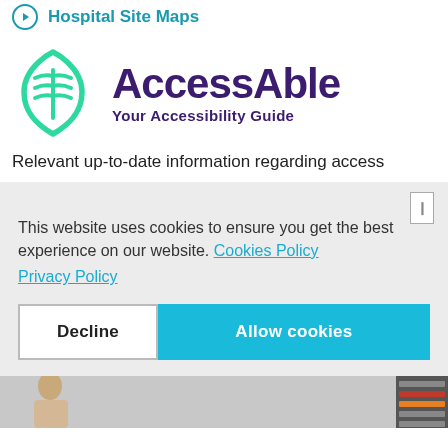Hospital Site Maps
[Figure (logo): AccessAble logo — green open book icon with the text 'AccessAble' in dark purple and tagline 'Your Accessibility Guide' below]
Relevant up-to-date information regarding access
This website uses cookies to ensure you get the best experience on our website. Cookies Policy
Privacy Policy
Decline  Allow cookies